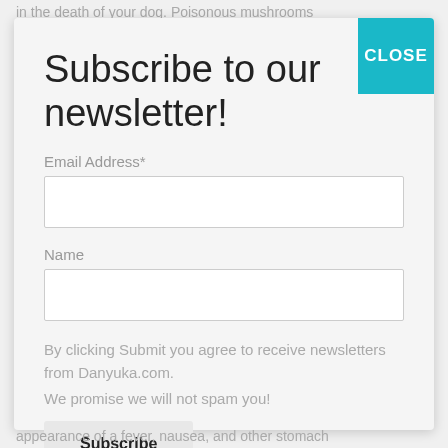in the death of your dog. Poisonous mushrooms
Subscribe to our newsletter!
Email Address*
Name
By clicking Submit you agree to receive newsletters from Danyuka.com.
We promise we will not spam you!
appearance of a fever, nausea, and other stomach